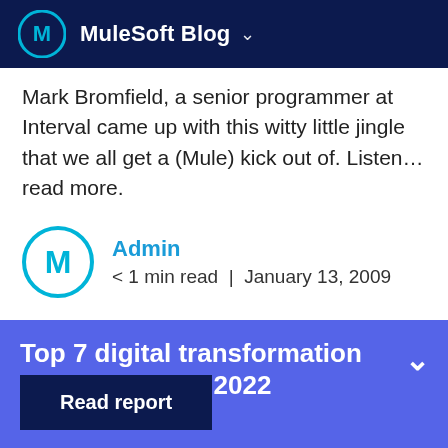MuleSoft Blog
Mark Bromfield, a senior programmer at Interval came up with this witty little jingle that we all get a (Mule) kick out of. Listen… read more.
Admin
< 1 min read | January 13, 2009
Top 7 digital transformation trends shaping 2022
Read report